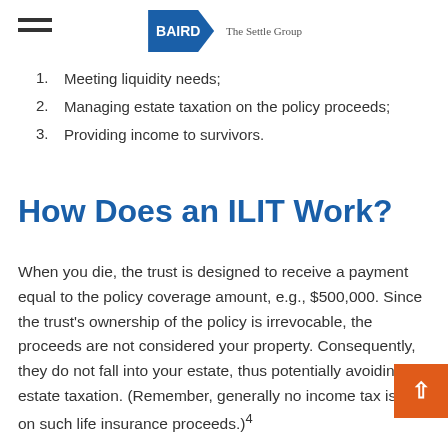BAIRD | The Settle Group
1. Meeting liquidity needs;
2. Managing estate taxation on the policy proceeds;
3. Providing income to survivors.
How Does an ILIT Work?
When you die, the trust is designed to receive a payment equal to the policy coverage amount, e.g., $500,000. Since the trust's ownership of the policy is irrevocable, the proceeds are not considered your property. Consequently, they do not fall into your estate, thus potentially avoiding estate taxation. (Remember, generally no income tax is due on such life insurance proceeds.)4